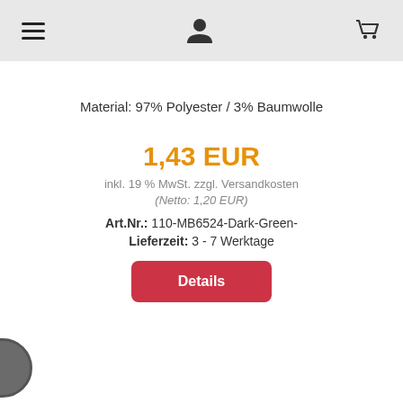≡  👤↓  🛒
Material:  97% Polyester / 3% Baumwolle
1,43 EUR
inkl. 19 % MwSt. zzgl. Versandkosten
(Netto: 1,20 EUR)
Art.Nr.: 110-MB6524-Dark-Green-
Lieferzeit: 3 - 7 Werktage
Details
[Figure (illustration): A dark grey filled circle, representing a color swatch]